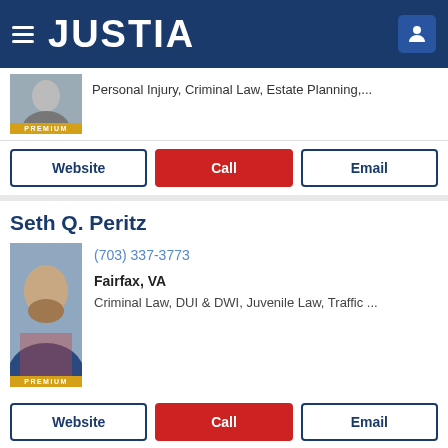JUSTIA
Personal Injury, Criminal Law, Estate Planning,...
Website | Call | Email
Seth Q. Peritz
(703) 337-3773
Fairfax, VA
Criminal Law, DUI & DWI, Juvenile Law, Traffic ...
Website | Call | Email
Michael A Robinson
(888) 259-9787